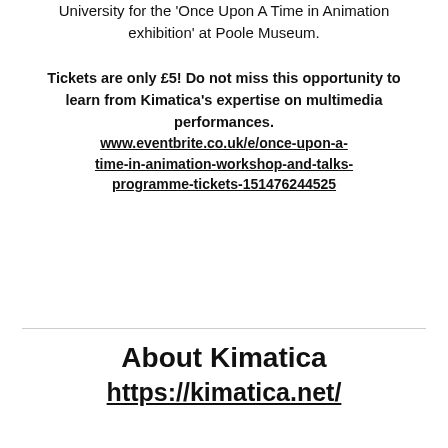University for the 'Once Upon A Time in Animation exhibition' at Poole Museum.
Tickets are only £5! Do not miss this opportunity to learn from Kimatica's expertise on multimedia performances. www.eventbrite.co.uk/e/once-upon-a-time-in-animation-workshop-and-talks-programme-tickets-151476244525
About Kimatica https://kimatica.net/